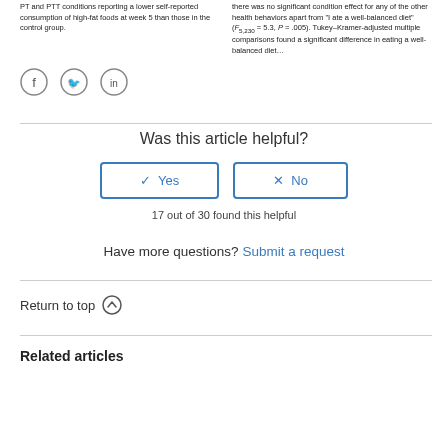PT and PTT conditions reporting a lower self-reported consumption of high-fat foods at week 5 than those in the control group.
there was no significant condition effect for any of the other health behaviors apart from "I ate a well-balanced diet" (F5,230 = 5.3, P = .005). Tukey–Kramer-adjusted multiple comparisons found a significant difference in eating a well-balanced diet…
[Figure (other): Social sharing icons: Facebook, Twitter, LinkedIn]
Was this article helpful?
✓ Yes   ✗ No (buttons)
17 out of 30 found this helpful
Have more questions? Submit a request
Return to top ↑
Related articles